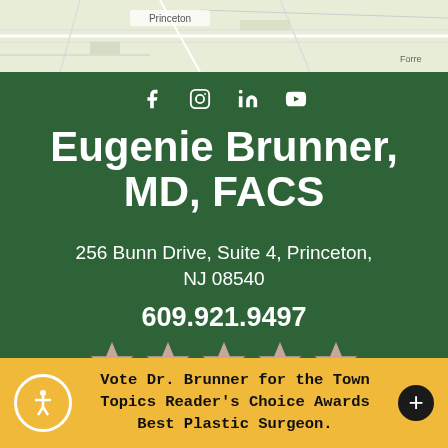[Figure (map): Map background showing Princeton area roads and streets]
f  (instagram)  in  (youtube)
Eugenie Brunner, MD, FACS
256 Bunn Drive, Suite 4, Princeton, NJ 08540
609.921.9497
[Figure (other): Five pink/mauve star rating icons]
Vote Dr. Brunner for the Town Topics Reader's Choice Awards Best Plastic Surgeon.